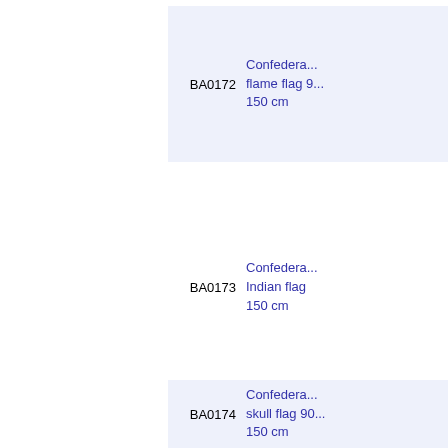BA0172 — Confedera... flame flag 9... 150 cm
BA0173 — Confedera... Indian flag 150 cm
BA0174 — Confedera... skull flag 90... 150 cm
FP0057 — East Pruss... 90 x 150 cr...
FP0059 — East Pruss... Landsmann... flag 90 x 15...